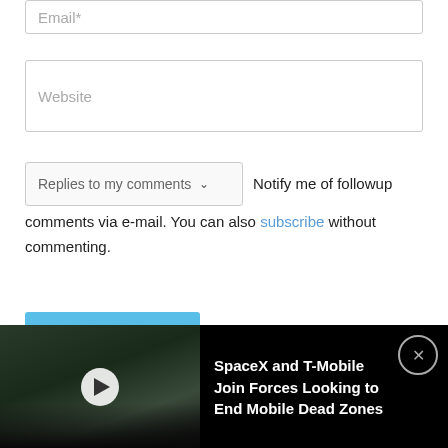Email*
Website
Replies to my comments ∨  Notify me of followup comments via e-mail. You can also subscribe without commenting.
Post Comment »
[Figure (screenshot): Video banner showing SpaceX and T-Mobile event with crowd, with play button overlay]
SpaceX and T-Mobile Join Forces Looking to End Mobile Dead Zones